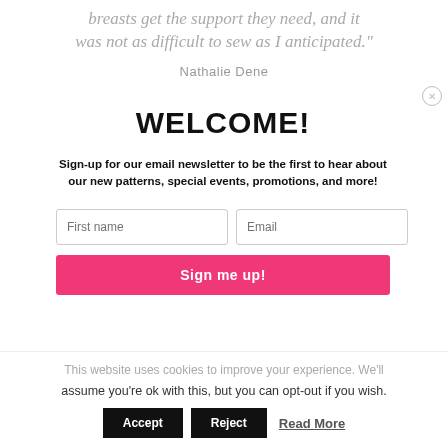breasts get the support they need, and it was not as difficult to sew as I anticipated."
Nathalie Dene
WELCOME!
Sign-up for our email newsletter to be the first to hear about our new patterns, special events, promotions, and more!
First name | Email (form fields)
Sign me up!
This website uses cookies to improve your experience. We'll assume you're ok with this, but you can opt-out if you wish.
Accept | Reject | Read More